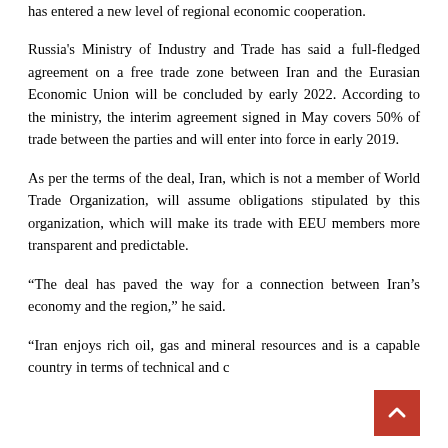has entered a new level of regional economic cooperation.
Russia's Ministry of Industry and Trade has said a full-fledged agreement on a free trade zone between Iran and the Eurasian Economic Union will be concluded by early 2022. According to the ministry, the interim agreement signed in May covers 50% of trade between the parties and will enter into force in early 2019.
As per the terms of the deal, Iran, which is not a member of World Trade Organization, will assume obligations stipulated by this organization, which will make its trade with EEU members more transparent and predictable.
“The deal has paved the way for a connection between Iran’s economy and the region,” he said.
“Iran enjoys rich oil, gas and mineral resources and is a capable country in terms of technical and construction